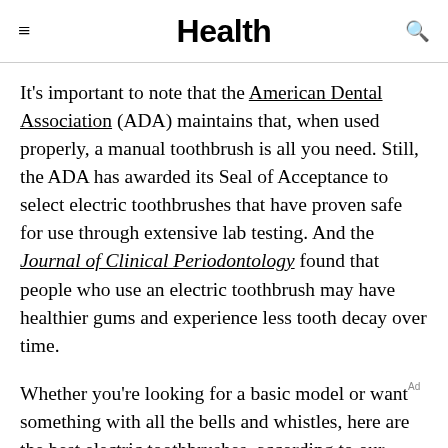Health
It's important to note that the American Dental Association (ADA) maintains that, when used properly, a manual toothbrush is all you need. Still, the ADA has awarded its Seal of Acceptance to select electric toothbrushes that have proven safe for use through extensive lab testing. And the Journal of Clinical Periodontology found that people who use an electric toothbrush may have healthier gums and experience less tooth decay over time.
Whether you're looking for a basic model or want something with all the bells and whistles, here are the best electric toothbrushes, according to our